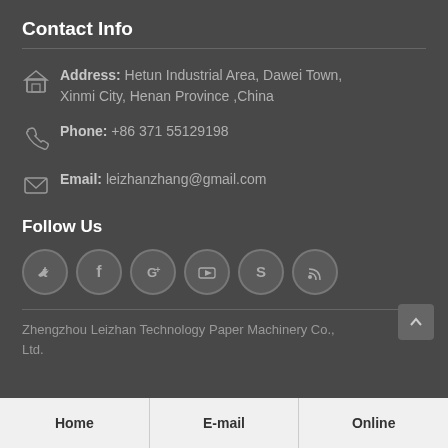Contact Info
Address: Hetun Industrial Area, Dawei Town, Xinmi City, Henan Province ,China
Phone: +86 371 55129198
Email: leizhanzhang@gmail.com
Follow Us
[Figure (other): Six social media icon circles: Twitter, Facebook, Google+, YouTube, Skype, RSS]
Zhengzhou Leizhan Technology Paper Machinery Co., Ltd.
Home | E-mail | Online